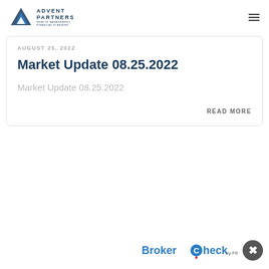[Figure (logo): Advent Partners logo with blue triangular icon and company name]
AUGUST 25, 2022
Market Update 08.25.2022
Market Update 08.25.2022
READ MORE
[Figure (logo): BrokerCheck by FINRA logo]